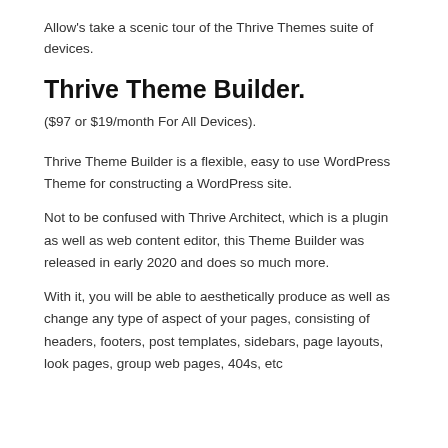Allow's take a scenic tour of the Thrive Themes suite of devices.
Thrive Theme Builder.
($97 or $19/month For All Devices).
Thrive Theme Builder is a flexible, easy to use WordPress Theme for constructing a WordPress site.
Not to be confused with Thrive Architect, which is a plugin as well as web content editor, this Theme Builder was released in early 2020 and does so much more.
With it, you will be able to aesthetically produce as well as change any type of aspect of your pages, consisting of headers, footers, post templates, sidebars, page layouts, look pages, group web pages, 404s, etc